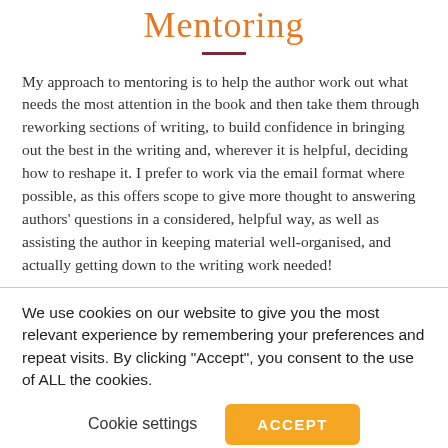Mentoring
My approach to mentoring is to help the author work out what needs the most attention in the book and then take them through reworking sections of writing, to build confidence in bringing out the best in the writing and, wherever it is helpful, deciding how to reshape it. I prefer to work via the email format where possible, as this offers scope to give more thought to answering authors' questions in a considered, helpful way, as well as assisting the author in keeping material well-organised, and actually getting down to the writing work needed!
We use cookies on our website to give you the most relevant experience by remembering your preferences and repeat visits. By clicking "Accept", you consent to the use of ALL the cookies.
Cookie settings
ACCEPT